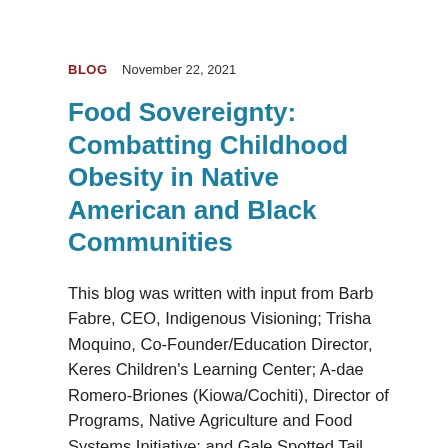BLOG  November 22, 2021
Food Sovereignty: Combatting Childhood Obesity in Native American and Black Communities
This blog was written with input from Barb Fabre, CEO, Indigenous Visioning; Trisha Moquino, Co-Founder/Education Director, Keres Children's Learning Center; A-dae Romero-Briones (Kiowa/Cochiti), Director of Programs, Native Agriculture and Food Systems Initiative; and Gale Spotted Tail, Rosebud Sioux Tribe Child Care Services/Lakota Language Preservation